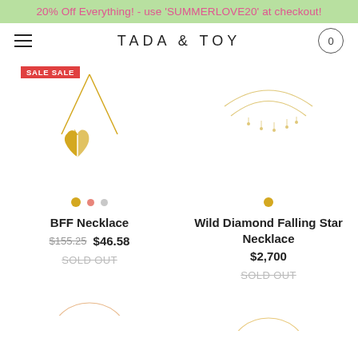20% Off Everything! - use 'SUMMERLOVE20' at checkout!
TADA & TOY
[Figure (photo): BFF Necklace product image - gold half-heart pendant necklace with SALE SALE badge, color swatches: gold, pink, gray]
[Figure (photo): Wild Diamond Falling Star Necklace product image - delicate double-strand necklace with small diamonds, color swatch: gold]
BFF Necklace
$155.25  $46.58
Wild Diamond Falling Star Necklace
$2,700
SOLD OUT
SOLD OUT